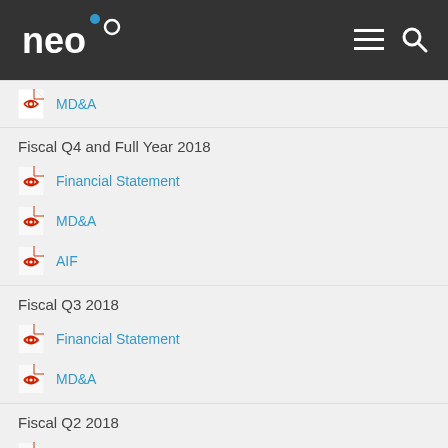[Figure (logo): Neo logo in white on dark background with hamburger menu and search icon]
MD&A
Fiscal Q4 and Full Year 2018
Financial Statement
MD&A
AIF
Fiscal Q3 2018
Financial Statement
MD&A
Fiscal Q2 2018
Financial Statement